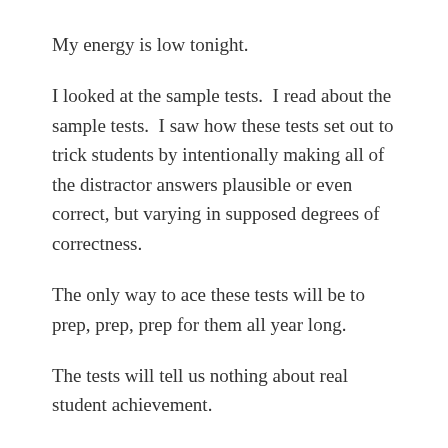My energy is low tonight.
I looked at the sample tests.  I read about the sample tests.  I saw how these tests set out to trick students by intentionally making all of the distractor answers plausible or even correct, but varying in supposed degrees of correctness.
The only way to ace these tests will be to prep, prep, prep for them all year long.
The tests will tell us nothing about real student achievement.
The tests will tell us nothing about which teachers are successful.